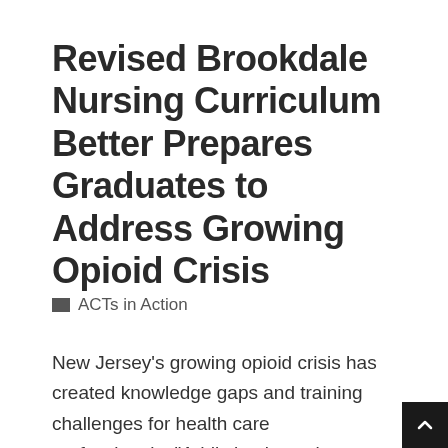Revised Brookdale Nursing Curriculum Better Prepares Graduates to Address Growing Opioid Crisis
ACTs in Action
New Jersey's growing opioid crisis has created knowledge gaps and training challenges for health care professionals.  “Addiction is not just a care issue for nurses working in corrections or drug rehab,” says Rosemary